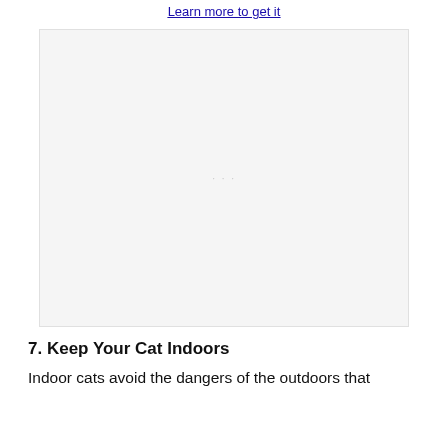Learn more to get it
[Figure (photo): Large light gray placeholder image box, approximately square, with faint watermark-like symbols in the center]
7. Keep Your Cat Indoors
Indoor cats avoid the dangers of the outdoors that